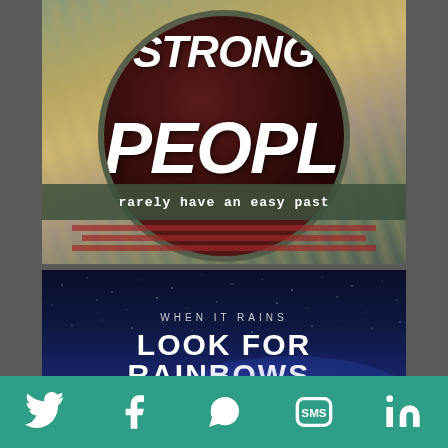[Figure (illustration): Inspirational quote image with dark red circle on mountain road background. Bold white text reads 'STRONG PEOPLE' with 'rarely have an easy past' on a banner below.]
[Figure (illustration): Night sky/starfield background with text 'WHEN IT RAINS' above 'LOOK FOR RAINBOWS.' in large white bold letters.]
Twitter | Facebook | WhatsApp | SMS | LinkedIn social share icons